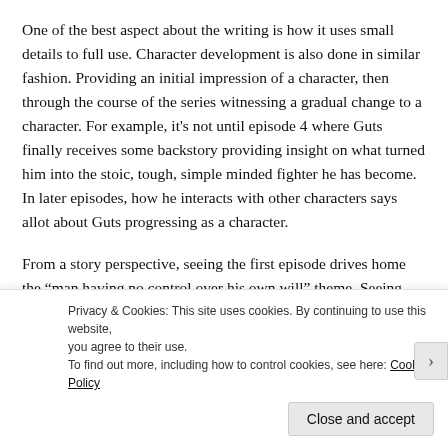One of the best aspect about the writing is how it uses small details to full use. Character development is also done in similar fashion. Providing an initial impression of a character, then through the course of the series witnessing a gradual change to a character. For example, it’s not until episode 4 where Guts finally receives some backstory providing insight on what turned him into the stoic, tough, simple minded fighter he has become. In later episodes, how he interacts with other characters says allot about Guts progressing as a character.
From a story perspective, seeing the first episode drives home the “man having no control over his own will” theme. Seeing
Privacy & Cookies: This site uses cookies. By continuing to use this website, you agree to their use.
To find out more, including how to control cookies, see here: Cookie Policy